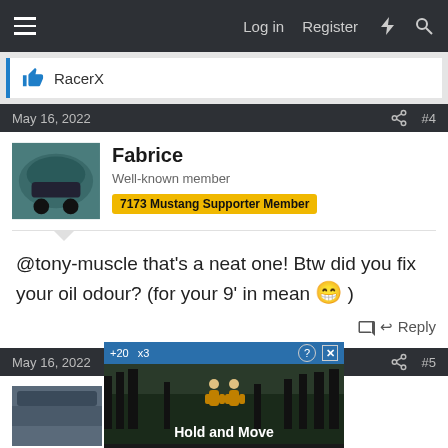Log in  Register
RacerX
May 16, 2022  #4
Fabrice
Well-known member  7173 Mustang Supporter Member
@tony-muscle that's a neat one! Btw did you fix your oil odour? (for your 9' in mean 😁 )
Reply
May 16, 2022  #5
c9zx
[Figure (screenshot): Ad overlay: Hold and Move game advertisement with people icon]